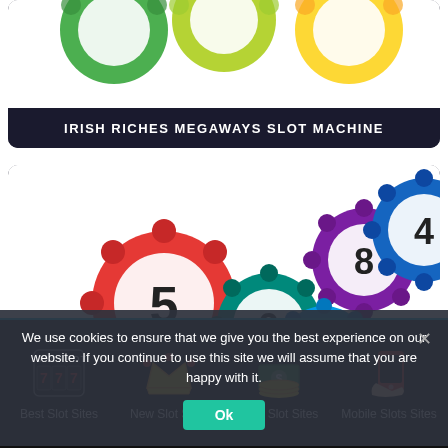[Figure (illustration): Top portion of Irish Riches Megaways slot machine card with lottery balls visible at top]
IRISH RICHES MEGAWAYS SLOT MACHINE
[Figure (illustration): Colorful lottery bingo balls scattered on white background: red ball with 5, teal ball with 9, purple/blue ball with 8, blue ball with 4, blue/green ball with 1, green ball partially visible, yellow ball partially visible]
We use cookies to ensure that we give you the best experience on our website. If you continue to use this site we will assume that you are happy with it.
[Figure (illustration): Cookie consent Ok button]
Best Slot Sites | New Slot Sites | Free Slot Sites | Mobile Slots Sites